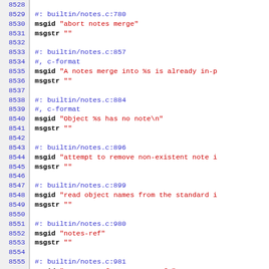Source code / PO file listing showing gettext message entries for builtin/notes.c, lines 8528-8557+